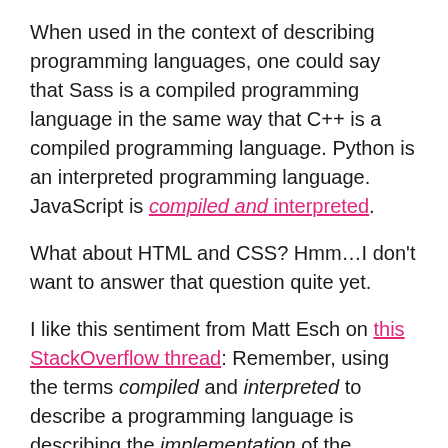When used in the context of describing programming languages, one could say that Sass is a compiled programming language in the same way that C++ is a compiled programming language. Python is an interpreted programming language. JavaScript is compiled and interpreted.
What about HTML and CSS? Hmm…I don't want to answer that question quite yet.
I like this sentiment from Matt Esch on this StackOverflow thread: Remember, using the terms compiled and interpreted to describe a programming language is describing the implementation of the programming language, not characteristics of language itself.